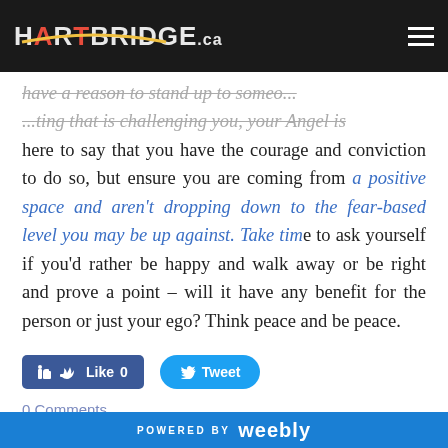HARTBRIDGE.ca
here to say that you have the courage and conviction to do so, but ensure you are coming from a positive space and aren't dropping down to the fear-based level you may be up against. Take time to ask yourself if you'd rather be happy and walk away or be right and prove a point – will it have any benefit for the person or just your ego? Think peace and be peace.
Like 0   Tweet
0 Comments
Archangel Gabriel Daily Message
Wed, Jan 20/21
POWERED BY weebly